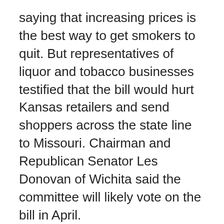saying that increasing prices is the best way to get smokers to quit. But representatives of liquor and tobacco businesses testified that the bill would hurt Kansas retailers and send shoppers across the state line to Missouri. Chairman and Republican Senator Les Donovan of Wichita said the committee will likely vote on the bill in April.
=================================
Kansas Lawmakers Continue to Restrict Presidential Primaries
TOPEKA, Kan. (AP) — Kansas has not held a presidential primary since 1992, and lawmakers are advancing a bill to stop the state from scheduling such a contest every four years. The